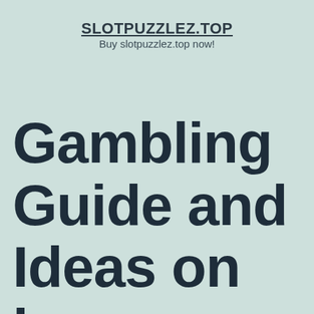SLOTPUZZLEZ.TOP
Buy slotpuzzlez.top now!
Gambling Guide and Ideas on how to Win in